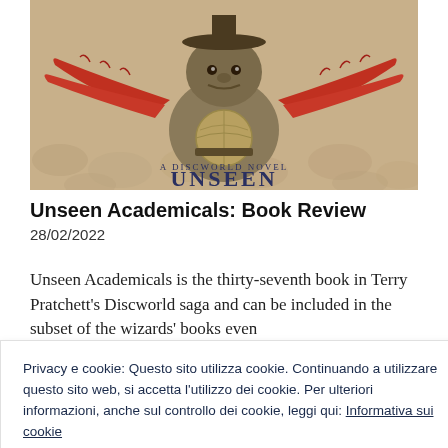[Figure (photo): Book cover of 'Unseen Academicals: A Discworld Novel' showing a troll-like creature holding a globe, with red furry arms spread wide, sitting on cobblestones. Text reads 'A DISCWORLD NOVEL' and 'UNSEEN' visible at the bottom.]
Unseen Academicals: Book Review
28/02/2022
Unseen Academicals is the thirty-seventh book in Terry Pratchett's Discworld saga and can be included in the subset of the wizards' books even
Privacy e cookie: Questo sito utilizza cookie. Continuando a utilizzare questo sito web, si accetta l'utilizzo dei cookie. Per ulteriori informazioni, anche sul controllo dei cookie, leggi qui: Informativa sui cookie
Chiudi e accetta